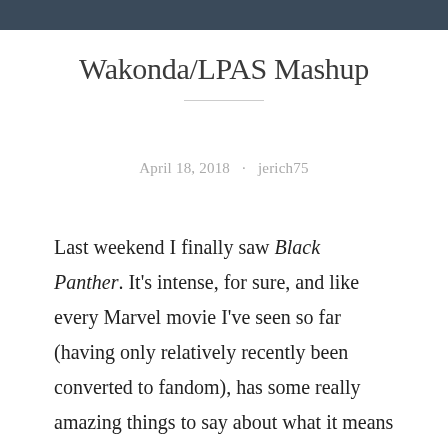[Figure (photo): Dark photograph visible at the very top of the page, cropped to a thin bar]
Wakonda/LPAS Mashup
April 18, 2018 · jerich75
Last weekend I finally saw Black Panther. It's intense, for sure, and like every Marvel movie I've seen so far (having only relatively recently been converted to fandom), has some really amazing things to say about what it means to be human, what it means to live in community, what it means to watch each other's back and hold on (hard) to your tribe.